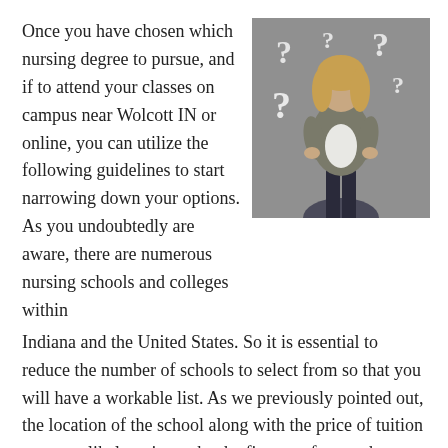Once you have chosen which nursing degree to pursue, and if to attend your classes on campus near Wolcott IN or online, you can utilize the following guidelines to start narrowing down your options. As you undoubtedly are aware, there are numerous nursing schools and colleges within Indiana and the United States. So it is essential to reduce the number of schools to select from so that you will have a workable list. As we previously pointed out, the location of the school along with the price of tuition are most likely going to be the first two factors that you will consider. But as we also stressed, they should not be your only qualifiers. So before making your final decision, use the following questions to evaluate how your pick compares to the other schools.
[Figure (photo): Woman with blonde hair wearing a grey jacket and white shirt, standing with hands on hips, surrounded by question mark symbols on a grey background]